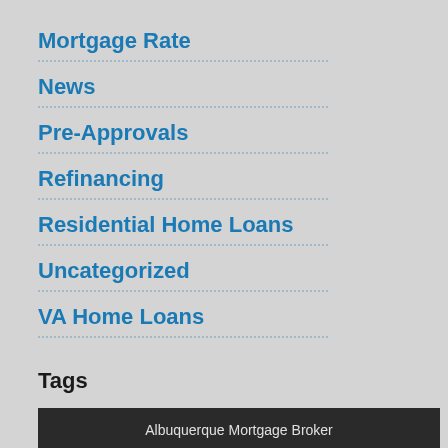Mortgage Rate
News
Pre-Approvals
Refinancing
Residential Home Loans
Uncategorized
VA Home Loans
Tags
Albuquerque Mortgage Broker
Albuquerque Mortgages
Appraisal
Big Bank
Cash-Out
Closing Costs
Construction Loan